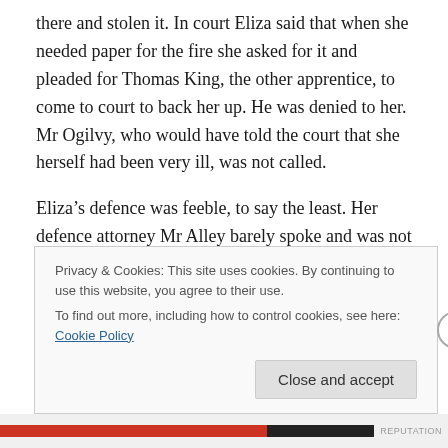there and stolen it. In court Eliza said that when she needed paper for the fire she asked for it and pleaded for Thomas King, the other apprentice, to come to court to back her up. He was denied to her. Mr Ogilvy, who would have told the court that she herself had been very ill, was not called.
Eliza’s defence was feeble, to say the least. Her defence attorney Mr Alley barely spoke and was not even in court to hear the Recorder’s summing up. One of the jurymen was deaf. She was permitted to speak in her defence, but
Privacy & Cookies: This site uses cookies. By continuing to use this website, you agree to their use.
To find out more, including how to control cookies, see here: Cookie Policy